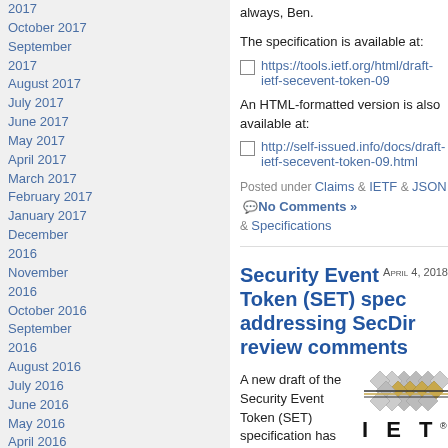2017
October 2017
September 2017
August 2017
July 2017
June 2017
May 2017
April 2017
March 2017
February 2017
January 2017
December 2016
November 2016
October 2016
September 2016
August 2016
July 2016
June 2016
May 2016
April 2016
March 2016
February 2016
January 2016
December 2015
November 2015
October 2015
always, Ben.
The specification is available at:
https://tools.ietf.org/html/draft-ietf-secevent-token-09
An HTML-formatted version is also available at:
http://self-issued.info/docs/draft-ietf-secevent-token-09.html
Posted under Claims & IETF & JSON  No Comments » & Specifications
Security Event Token (SET) spec addressing SecDir review comments
April 4, 2018
A new draft of the Security Event Token (SET) specification has published that addresses comments from Russ Housley, who
[Figure (logo): IETF logo with diamond pattern and IETF text]